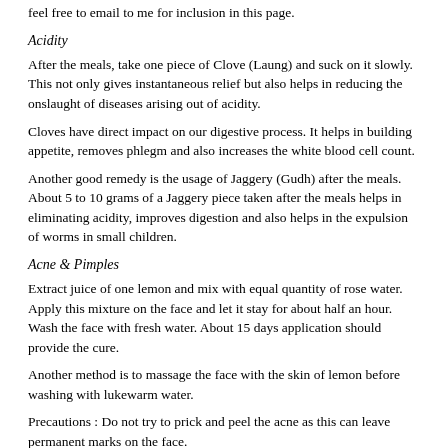feel free to email to me for inclusion in this page.
Acidity
After the meals, take one piece of Clove (Laung) and suck on it slowly.  This not only gives instantaneous relief but also helps in reducing the onslaught of diseases arising out of acidity.
Cloves have direct impact on our digestive process.  It helps in building appetite, removes phlegm and also increases the white blood cell count.
Another good remedy is the usage of Jaggery (Gudh) after the meals.  About 5 to 10 grams of a Jaggery piece taken after the meals helps in eliminating acidity, improves digestion and also helps in the expulsion of worms in small children.
Acne & Pimples
Extract juice of one lemon and mix with equal quantity of rose water. Apply this mixture on the face and let it stay for about half an hour.  Wash the face with fresh water.   About 15 days application should provide the cure.
Another method is to massage the face with the skin of lemon before washing with lukewarm water.
Precautions : Do not try to prick and peel the acne as this can leave permanent marks on the face.